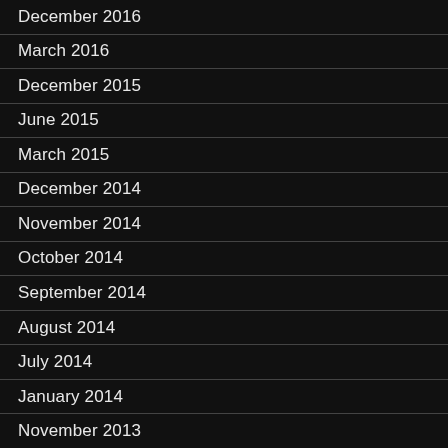December 2016
March 2016
December 2015
June 2015
March 2015
December 2014
November 2014
October 2014
September 2014
August 2014
July 2014
January 2014
November 2013